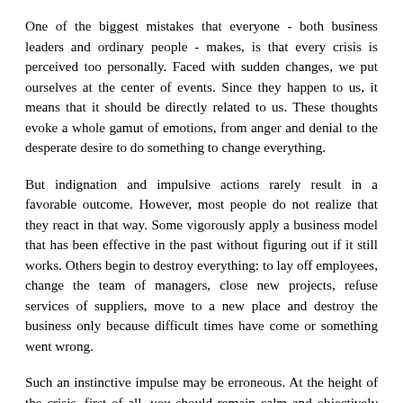One of the biggest mistakes that everyone - both business leaders and ordinary people - makes, is that every crisis is perceived too personally. Faced with sudden changes, we put ourselves at the center of events. Since they happen to us, it means that it should be directly related to us. These thoughts evoke a whole gamut of emotions, from anger and denial to the desperate desire to do something to change everything.
But indignation and impulsive actions rarely result in a favorable outcome. However, most people do not realize that they react in that way. Some vigorously apply a business model that has been effective in the past without figuring out if it still works. Others begin to destroy everything: to lay off employees, change the team of managers, close new projects, refuse services of suppliers, move to a new place and destroy the business only because difficult times have come or something went wrong.
Such an instinctive impulse may be erroneous. At the height of the crisis, first of all, you should remain calm and objectively evaluate what is happening. In the event of